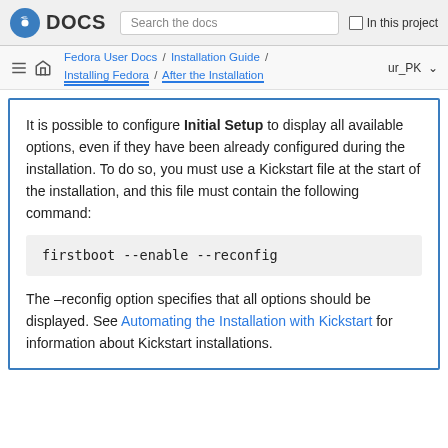Fedora DOCS | Search the docs | In this project
Fedora User Docs / Installation Guide / Installing Fedora / After the Installation | ur_PK
It is possible to configure Initial Setup to display all available options, even if they have been already configured during the installation. To do so, you must use a Kickstart file at the start of the installation, and this file must contain the following command:
firstboot --enable --reconfig
The –reconfig option specifies that all options should be displayed. See Automating the Installation with Kickstart for information about Kickstart installations.